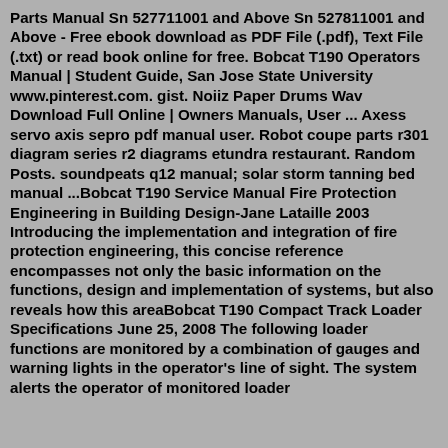Parts Manual Sn 527711001 and Above Sn 527811001 and Above - Free ebook download as PDF File (.pdf), Text File (.txt) or read book online for free. Bobcat T190 Operators Manual | Student Guide, San Jose State University www.pinterest.com. gist. Noiiz Paper Drums Wav Download Full Online | Owners Manuals, User ... Axess servo axis sepro pdf manual user. Robot coupe parts r301 diagram series r2 diagrams etundra restaurant. Random Posts. soundpeats q12 manual; solar storm tanning bed manual ...Bobcat T190 Service Manual Fire Protection Engineering in Building Design-Jane Lataille 2003 Introducing the implementation and integration of fire protection engineering, this concise reference encompasses not only the basic information on the functions, design and implementation of systems, but also reveals how this areaBobcat T190 Compact Track Loader Specifications June 25, 2008 The following loader functions are monitored by a combination of gauges and warning lights in the operator's line of sight. The system alerts the operator of monitored loader